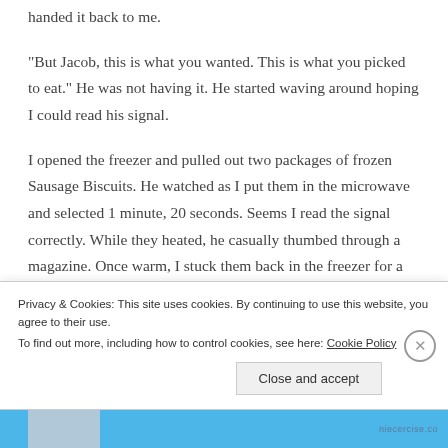handed it back to me.
“But Jacob, this is what you wanted.  This is what you picked to eat.”  He was not having it.  He started waving around hoping I could read his signal.
I opened the freezer and pulled out two packages of frozen Sausage Biscuits.  He watched as I put them in the microwave and selected 1 minute, 20 seconds.  Seems I read the signal correctly.  While they heated, he casually thumbed through a magazine.  Once warm, I stuck them back in the freezer for a quick cool down so
Privacy & Cookies: This site uses cookies. By continuing to use this website, you agree to their use.
To find out more, including how to control cookies, see here: Cookie Policy
Close and accept